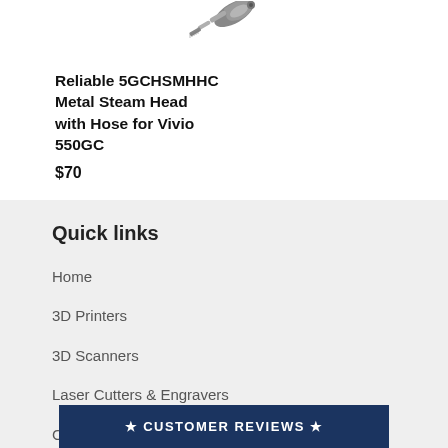[Figure (photo): Partial view of a metal steam head with hose product, shown from above at an angle against a white background.]
Reliable 5GCHSMHHC Metal Steam Head with Hose for Vivio 550GC
$70
Quick links
Home
3D Printers
3D Scanners
Laser Cutters & Engravers
CNC Mac…
★ CUSTOMER REVIEWS ★